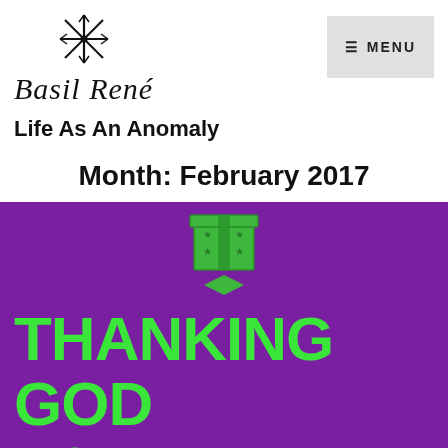[Figure (logo): Basil René blog logo with decorative snowflake/asterisk icon above italic script text reading 'Basil René']
≡ MENU
Life As An Anomaly
Month: February 2017
[Figure (illustration): Green gift box with star pattern on purple background, with a downward pointing green arrow/chevron below it]
THANKING GOD FOR ANOTHER YEAR OF LIFE